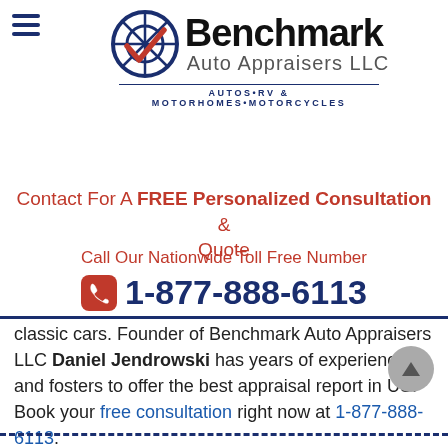[Figure (logo): Benchmark Auto Appraisers LLC logo with wheel icon and checkmark, tagline: AUTOS•RV & MOTORHOMES•MOTORCYCLES]
Contact For A FREE Personalized Consultation & Quote
Call Our Nationwide Toll Free Number
1-877-888-6113
classic cars. Founder of Benchmark Auto Appraisers LLC Daniel Jendrowski has years of experience and fosters to offer the best appraisal report in US. Book your free consultation right now at 1-877-888-6113.